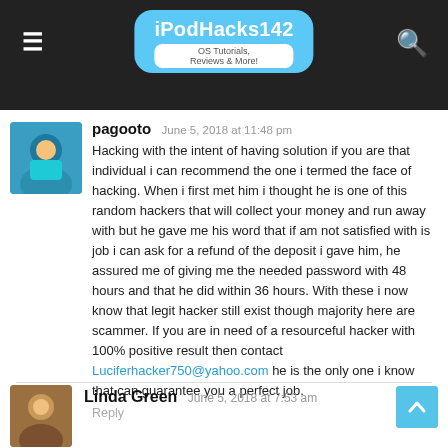iPodHacks142 OS Tutorials, Reviews & More!
pagooto June 5, 2018 at 11:48 pm
Hacking with the intent of having solution if you are that individual i can recommend the one i termed the face of hacking. When i first met him i thought he is one of this random hackers that will collect your money and run away with but he gave me his word that if am not satisfied with is job i can ask for a refund of the deposit i gave him, he assured me of giving me the needed password with 48 hours and that he did within 36 hours. With these i now know that legit hacker still exist though majority here are scammer. If you are in need of a resourceful hacker with 100% positive result then contact Luciferhacker750@yahoo.com he is the only one i know that can guarantee you a perfect job.
Reply
Linda Green June 5, 2018 at 7:53 am